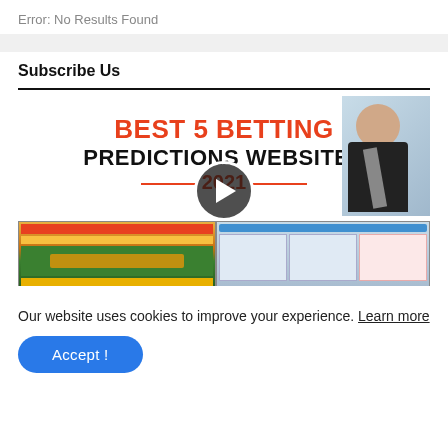Error: No Results Found
Subscribe Us
[Figure (screenshot): Video thumbnail for 'Best 5 Betting Predictions Websites 2021' with a play button overlay, showing a man in a suit on the right and betting website screenshots at the bottom.]
Our website uses cookies to improve your experience. Learn more
Accept !